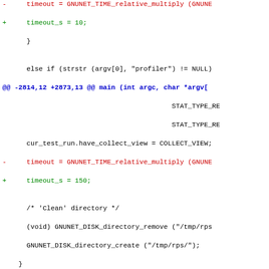Code diff showing changes to test_rps.c and test_rps.conf including timeout modifications and directory operations